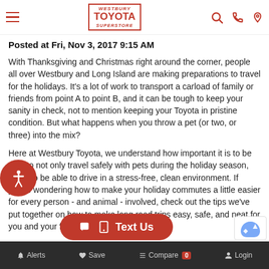Westbury Toyota Superstore — navigation bar with hamburger menu, logo, search, phone, and location icons
Posted at Fri, Nov 3, 2017 9:15 AM
With Thanksgiving and Christmas right around the corner, people all over Westbury and Long Island are making preparations to travel for the holidays. It's a lot of work to transport a carload of family or friends from point A to point B, and it can be tough to keep your sanity in check, not to mention keeping your Toyota in pristine condition. But what happens when you throw a pet (or two, or three) into the mix?
Here at Westbury Toyota, we understand how important it is to be able to not only travel safely with pets during the holiday season, but also be able to drive in a stress-free, clean environment. If you're wondering how to make your holiday commutes a little easier for every person - and animal - involved, check out the tips we've put together on how to make long road trips easy, safe, and neat for you and your four-legged friends.
Alerts   Save   Compare 0   Login